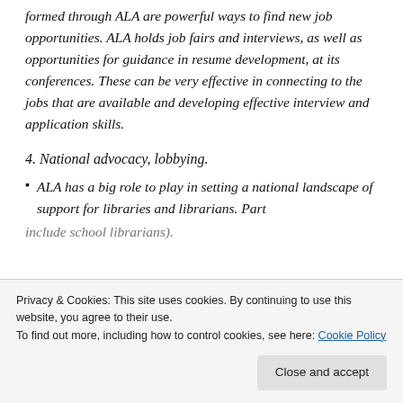formed through ALA are powerful ways to find new job opportunities.  ALA holds job fairs and interviews, as well as opportunities for guidance in resume development, at its conferences.  These can be very effective in connecting to the jobs that are available and developing effective interview and application skills.
4.  National advocacy, lobbying.
ALA has a big role to play in setting a national landscape of support for libraries and librarians.  Part
include school librarians).